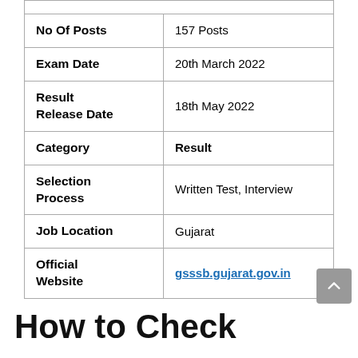| Field | Value |
| --- | --- |
| No Of Posts | 157 Posts |
| Exam Date | 20th March 2022 |
| Result Release Date | 18th May 2022 |
| Category | Result |
| Selection Process | Written Test, Interview |
| Job Location | Gujarat |
| Official Website | gsssb.gujarat.gov.in |
How to Check